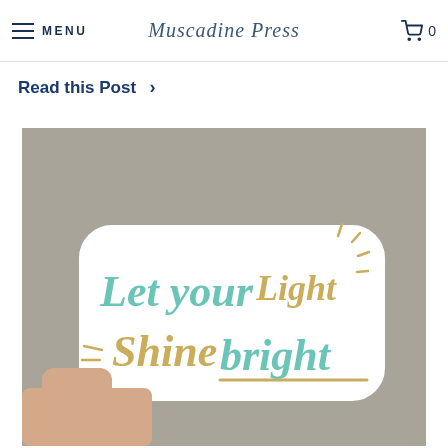MENU | Muscadine Press | 🛒 0
Read this Post >
[Figure (photo): A hand holding a white sticker with cursive lettering that reads 'Let your Light Shine bright' in teal and gold colors, photographed against a grey background.]